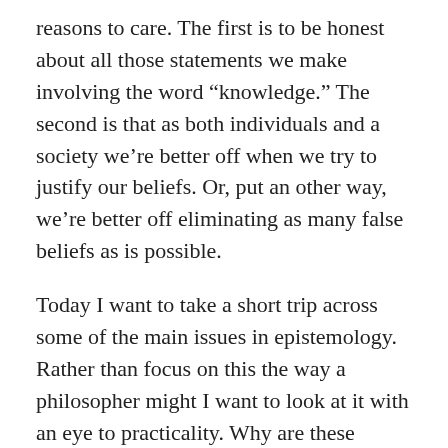reasons to care. The first is to be honest about all those statements we make involving the word “knowledge.” The second is that as both individuals and a society we’re better off when we try to justify our beliefs. Or, put an other way, we’re better off eliminating as many false beliefs as is possible.
Today I want to take a short trip across some of the main issues in epistemology. Rather than focus on this the way a philosopher might I want to look at it with an eye to practicality. Why are these issues? In doing so I’ll be dealing with them on a somewhat superficial level. I more want to get at why we might want to worry about these things rather than getting into the minutiae of the arguments that are still going on over them. I think they are important but they tend to get focused on primarily as abstract intellectual puzzles rather than real human concerns.